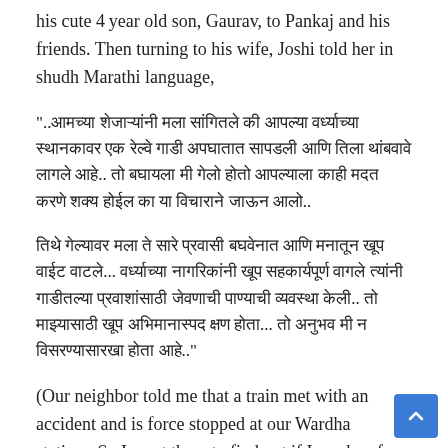his cute 4 year old son, Gaurav, to Pankaj and his friends. Then turning to his wife, Joshi told her in shudh Marathi language,
"..मराठी Devanagari text block 1 (quoted speech in Marathi)..
मराठी Devanagari text block 2 (continuation of quoted speech).."
(Our neighbor told me that a train met with an accident and is force stopped at our Wardha station.. So I went there to find out if I can be of some help to the stranded passengers